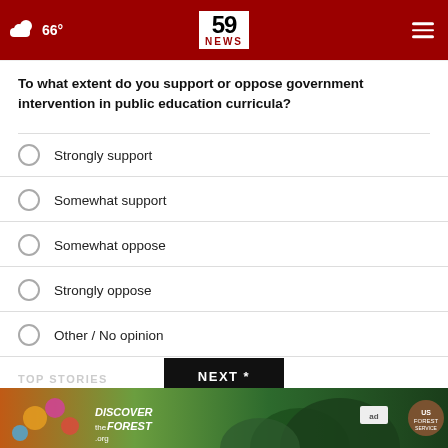59 NEWS — 66°
To what extent do you support or oppose government intervention in public education curricula?
Strongly support
Somewhat support
Somewhat oppose
Strongly oppose
Other / No opinion
NEXT *
* By clicking "NEXT" you agree to the following: We use cookies to track your survey answers. If you would like to continue with this survey, please read and agree to the CivicScience Privacy Policy and Terms of Service
[Figure (photo): DiscoverTheForest.org advertisement banner with forest imagery, ad council and US Forest Service logos]
TOP STORIES